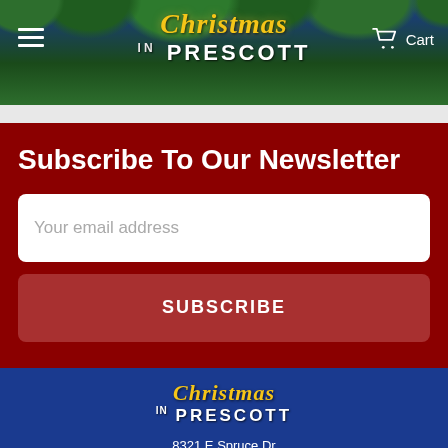[Figure (screenshot): Christmas in Prescott website header with pine branch decorations, hamburger menu icon on left, cart icon on right]
Subscribe To Our Newsletter
Your email address
SUBSCRIBE
[Figure (logo): Christmas in Prescott logo in footer]
8321 E Spruce Dr